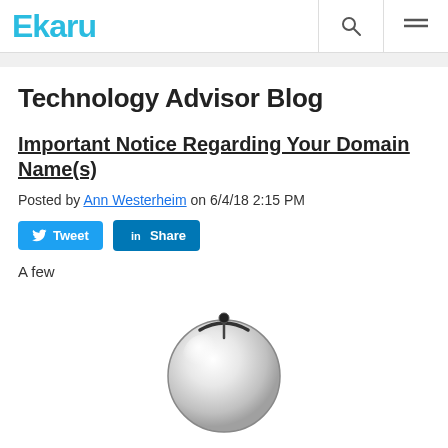Ekaru
Technology Advisor Blog
Important Notice Regarding Your Domain Name(s)
Posted by Ann Westerheim on 6/4/18 2:15 PM
Tweet  Share
A few
[Figure (photo): A silver metallic globe/sphere object]